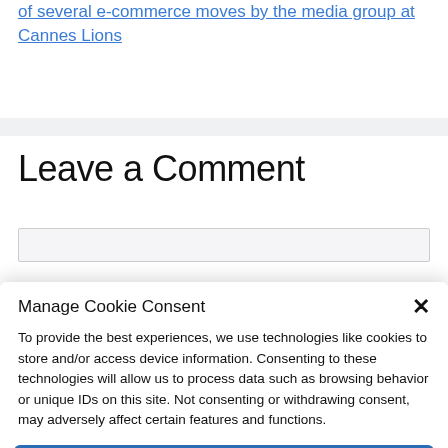of several e-commerce moves by the media group at Cannes Lions
Leave a Comment
Manage Cookie Consent
To provide the best experiences, we use technologies like cookies to store and/or access device information. Consenting to these technologies will allow us to process data such as browsing behavior or unique IDs on this site. Not consenting or withdrawing consent, may adversely affect certain features and functions.
Accept